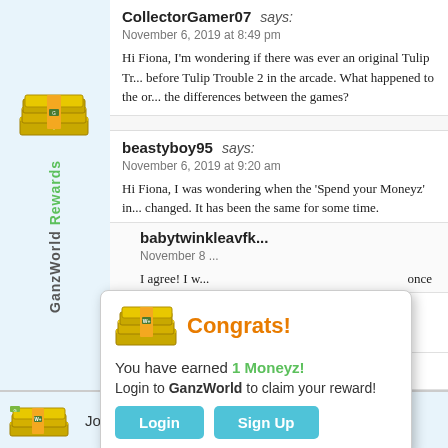[Figure (illustration): GanzWorld Rewards sidebar with money stack icon and rotated text 'GanzWorld Rewards']
CollectorGamer07 says:
November 6, 2019 at 8:49 pm
Hi Fiona, I'm wondering if there was ever an original Tulip Tr... before Tulip Trouble 2 in the arcade. What happened to the or... the differences between the games?
beastyboy95 says:
November 6, 2019 at 9:20 am
Hi Fiona, I was wondering when the 'Spend your Moneyz' in... changed. It has been the same for some time.
babytwinkleavfk... says:
November 8 ...
I agree! I w... once
[Figure (screenshot): Congrats popup: You have earned 1 Moneyz! Login to GanzWorld to claim your reward! with Login and Sign Up buttons]
fionaflamingo...
Join GanzWorld You'll get 1500 Moneyz!